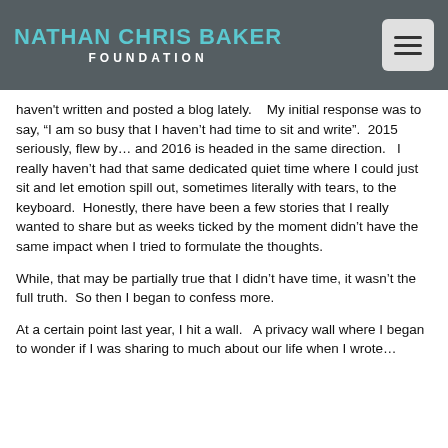NATHAN CHRIS BAKER FOUNDATION
haven't written and posted a blog lately.    My initial response was to say, “I am so busy that I haven’t had time to sit and write”.  2015 seriously, flew by… and 2016 is headed in the same direction.   I really haven’t had that same dedicated quiet time where I could just sit and let emotion spill out, sometimes literally with tears, to the keyboard.  Honestly, there have been a few stories that I really wanted to share but as weeks ticked by the moment didn’t have the same impact when I tried to formulate the thoughts.
While, that may be partially true that I didn’t have time, it wasn’t the full truth.  So then I began to confess more.
At a certain point last year, I hit a wall.   A privacy wall where I began to wonder if I was sharing to much about our life when I wrote…